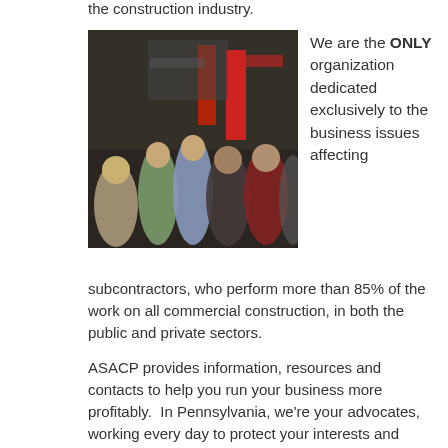the construction industry.
[Figure (photo): People networking at a trade show or industry event, with red banners and booths visible in the background.]
We are the ONLY organization dedicated exclusively to the business issues affecting
subcontractors, who perform more than 85% of the work on all commercial construction, in both the public and private sectors.
ASACP provides information, resources and contacts to help you run your business more profitably.  In Pennsylvania, we're your advocates, working every day to protect your interests and promote fair business practices throughout the construction industry.
Learn More About Us